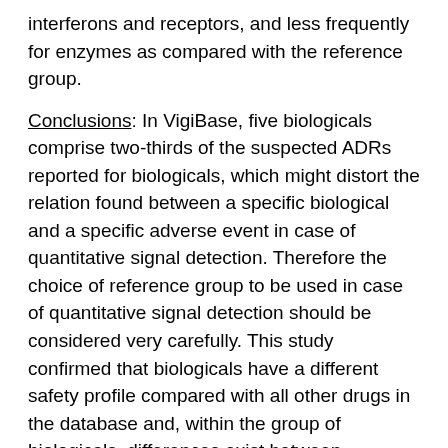interferons and receptors, and less frequently for enzymes as compared with the reference group.
Conclusions: In VigiBase, five biologicals comprise two-thirds of the suspected ADRs reported for biologicals, which might distort the relation found between a specific biological and a specific adverse event in case of quantitative signal detection. Therefore the choice of reference group to be used in case of quantitative signal detection should be considered very carefully. This study confirmed that biologicals have a different safety profile compared with all other drugs in the database and, within the group of biologicals, differences exist between mechanistic classes. Infections are, for example, frequently reported for receptors and antibodies, which often have an immune compromising effect. Such predictable safety issues should be specifically studied by preregistration clinical trials and/or targeted pharmacovigilance. In addition, since not all adverse reactions can be predicted or detected during